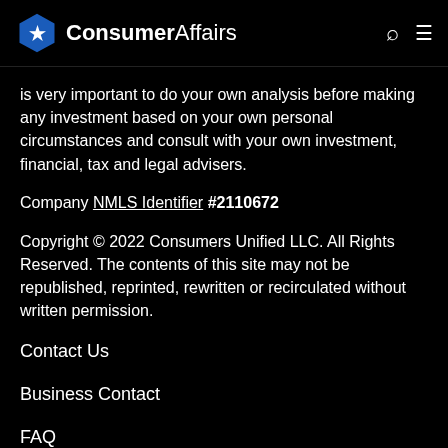ConsumerAffairs
is very important to do your own analysis before making any investment based on your own personal circumstances and consult with your own investment, financial, tax and legal advisers.
Company NMLS Identifier #2110672
Copyright © 2022 Consumers Unified LLC. All Rights Reserved. The contents of this site may not be republished, reprinted, rewritten or recirculated without written permission.
Contact Us
Business Contact
FAQ